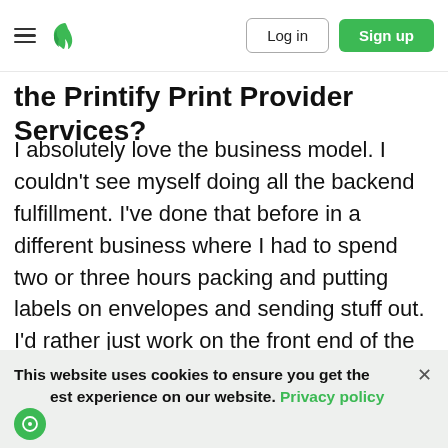Log in | Sign up
the Printify Print Provider Services?
I absolutely love the business model. I couldn't see myself doing all the backend fulfillment. I've done that before in a different business where I had to spend two or three hours packing and putting labels on envelopes and sending stuff out. I'd rather just work on the front end of the business; how to market, how to sell, how to make upgrades to my eCommerce store and get people in the door.
This website uses cookies to ensure you get the best experience on our website. Privacy policy